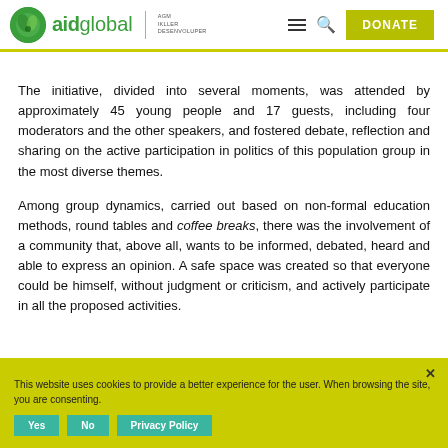aid global | AGM IKLLER DESENVOLUPER — navigation bar with DONATE button
The initiative, divided into several moments, was attended by approximately 45 young people and 17 guests, including four moderators and the other speakers, and fostered debate, reflection and sharing on the active participation in politics of this population group in the most diverse themes.
Among group dynamics, carried out based on non-formal education methods, round tables and coffee breaks, there was the involvement of a community that, above all, wants to be informed, debated, heard and able to express an opinion. A safe space was created so that everyone could be himself, without judgment or criticism, and actively participate in all the proposed activities.
This website uses cookies to provide a better experience for the user. When browsing the site, you are consenting.